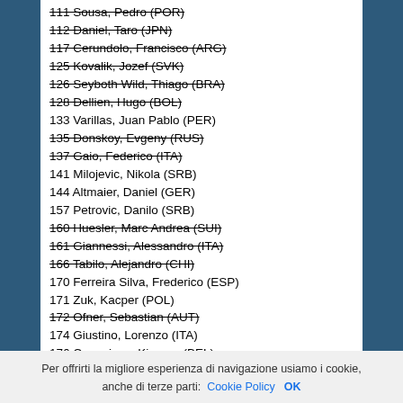111 Sousa, Pedro (POR)
112 Daniel, Taro (JPN)
117 Cerundolo, Francisco (ARG)
125 Kovalik, Jozef (SVK)
126 Seyboth Wild, Thiago (BRA)
128 Dellien, Hugo (BOL)
133 Varillas, Juan Pablo (PER)
135 Donskoy, Evgeny (RUS)
137 Gaio, Federico (ITA)
141 Milojevic, Nikola (SRB)
144 Altmaier, Daniel (GER)
157 Petrovic, Danilo (SRB)
160 Huesler, Marc Andrea (SUI)
161 Giannessi, Alessandro (ITA)
166 Tabilo, Alejandro (CHI)
170 Ferreira Silva, Frederico (ESP)
171 Zuk, Kacper (POL)
172 Ofner, Sebastian (AUT)
174 Giustino, Lorenzo (ITA)
176 Coppejans, Kimmer (BEL)
Per offrirti la migliore esperienza di navigazione usiamo i cookie, anche di terze parti: Cookie Policy OK